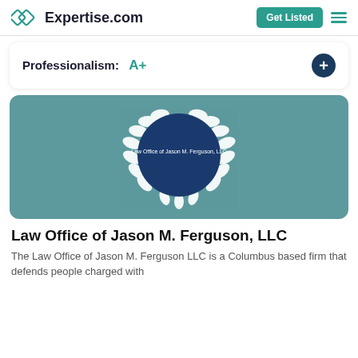Expertise.com | Get Listed
Professionalism:  A+
[Figure (logo): Law Office of Jason M. Ferguson, LLC logo — dark blue circle with white text and white laurel wreath, on a teal background]
Law Office of Jason M. Ferguson, LLC
The Law Office of Jason M. Ferguson LLC is a Columbus based firm that defends people charged with